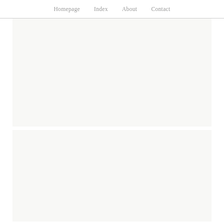Homepage   Index   About   Contact
[Figure (other): Large light gray/off-white rectangular content block (top), spanning most of the page width below the navigation header]
[Figure (other): Large light gray/off-white rectangular content block (bottom), spanning most of the page width below the top block]